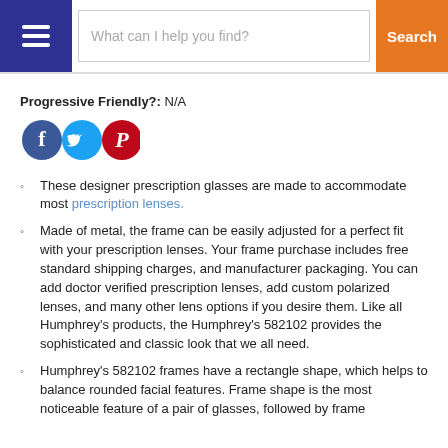What can I help you find? Search
Progressive Friendly?: N/A
[Figure (illustration): Three social media icon buttons: Facebook (dark blue circle with white 'f'), Twitter (light blue circle with white bird), Pinterest (dark red circle with white 'P')]
These designer prescription glasses are made to accommodate most prescription lenses.
Made of metal, the frame can be easily adjusted for a perfect fit with your prescription lenses. Your frame purchase includes free standard shipping charges, and manufacturer packaging. You can add doctor verified prescription lenses, add custom polarized lenses, and many other lens options if you desire them. Like all Humphrey's products, the Humphrey's 582102 provides the sophisticated and classic look that we all need.
Humphrey's 582102 frames have a rectangle shape, which helps to balance rounded facial features. Frame shape is the most noticeable feature of a pair of glasses, followed by frame